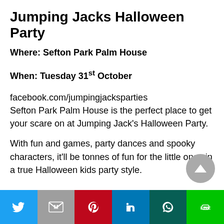Jumping Jacks Halloween Party
Where: Sefton Park Palm House
When: Tuesday 31st October
facebook.com/jumpingjacksparties
Sefton Park Palm House is the perfect place to get your scare on at Jumping Jack's Halloween Party.

With fun and games, party dances and spooky characters, it'll be tonnes of fun for the little ones in a true Halloween kids party style.
Twitter | Gmail | Pinterest | LinkedIn | WhatsApp | LINE